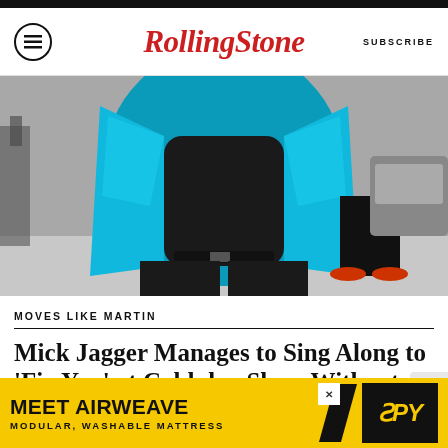RollingStone — SUBSCRIBE
[Figure (photo): Person wearing a teal/turquoise sequined jacket open over a black turtleneck shirt, with dark pants, shot from torso down, outdoors in parking area]
MOVES LIKE MARTIN
Mick Jagger Manages to Sing Along to 'Fix You' at Coldplay Show Without Weeping
BY JON BLISTEIN
[Figure (other): Advertisement banner: MEET AIRWEAVE MODULAR, WASHABLE MATTRESS with SPY logo on yellow background]